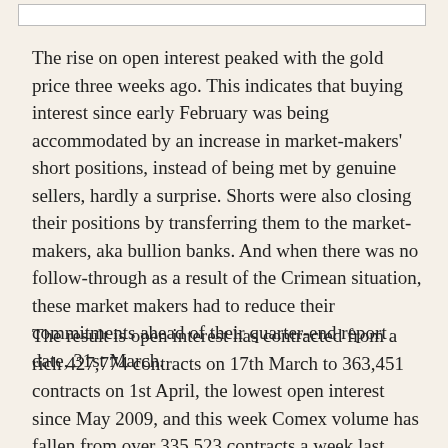The rise on open interest peaked with the gold price three weeks ago. This indicates that buying interest since early February was being accommodated by an increase in market-makers' short positions, instead of being met by genuine sellers, hardly a surprise. Shorts were also closing their positions by transferring them to the market-makers, aka bullion banks. And when there was no follow-through as a result of the Crimean situation, these market makers had to reduce their commitments ahead of their quarter-end report date, 31st March.
The result is open interest has contracted from a rich 427,774 contracts on 17th March to 363,451 contracts on 1st April, the lowest open interest since May 2009, and this week Comex volume has fallen from over 335,523 contracts a week last Thursday to a low of 106,729 yesterday. This tells us that interest in Comex gold is now as low as it is likely to get and